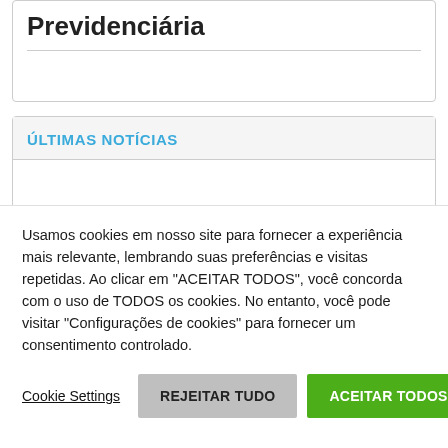Previdenciária
ÚLTIMAS NOTÍCIAS
Usamos cookies em nosso site para fornecer a experiência mais relevante, lembrando suas preferências e visitas repetidas. Ao clicar em "ACEITAR TODOS", você concorda com o uso de TODOS os cookies. No entanto, você pode visitar "Configurações de cookies" para fornecer um consentimento controlado.
Cookie Settings | REJEITAR TUDO | ACEITAR TODOS